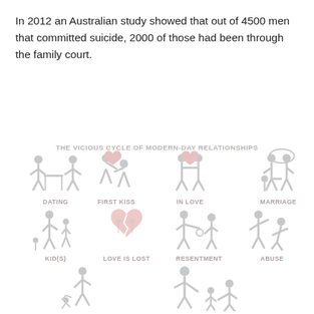In 2012 an Australian study showed that out of 4500 men that committed suicide, 2000 of those had been through the family court.
[Figure (infographic): Infographic titled 'THE VICIOUS CYCLE OF MODERN-DAY RELATIONSHIPS' showing stick figures in 9 stages: DATING, FIRST KISS, IN LOVE, MARRIAGE, KID(S), LOVE IS LOST (broken heart), RESENTMENT, ABUSE, MORE ABUSE, DIVORCE]